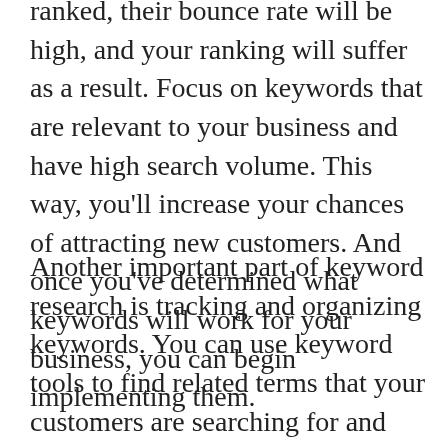ranked, their bounce rate will be high, and your ranking will suffer as a result. Focus on keywords that are relevant to your business and have high search volume. This way, you'll increase your chances of attracting new customers. And once you've determined what keywords will work for your business, you can begin implementing them.
Another important part of keyword research is tracking and organizing keywords. You can use keyword tools to find related terms that your customers are searching for and use those terms as the basis of content clusters. These tools can even suggest new keywords based on their analysis of your site. They will also give you a full picture of the keywords that your website ranks for. Then, you can optimize your site for those keywords and improve its presence in the